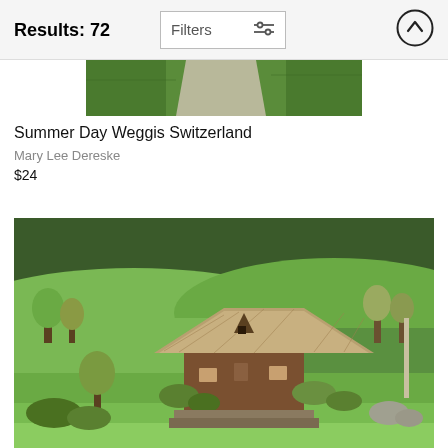Results: 72
[Figure (screenshot): UI header bar with Results: 72 label, Filters button with sliders icon, and an up-arrow circular button]
[Figure (photo): Partial cropped landscape photo showing green grass and a gravel path (top portion of Summer Day Weggis Switzerland)]
Summer Day Weggis Switzerland
Mary Lee Dereske
$24
[Figure (photo): Landscape photograph of a traditional Swiss/German farmhouse with a large thatched roof set in a green hillside with forest in the background]